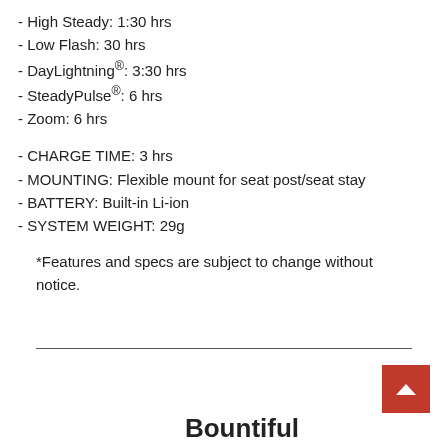- High Steady: 1:30 hrs
- Low Flash: 30 hrs
- DayLightning®: 3:30 hrs
- SteadyPulse®: 6 hrs
- Zoom: 6 hrs
- CHARGE TIME: 3 hrs
- MOUNTING: Flexible mount for seat post/seat stay
- BATTERY: Built-in Li-ion
- SYSTEM WEIGHT: 29g
*Features and specs are subject to change without notice.
Bountiful